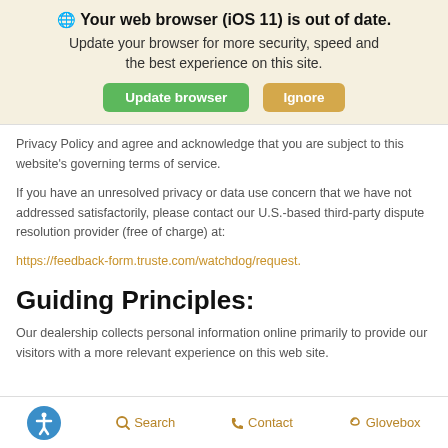🌐 Your web browser (iOS 11) is out of date. Update your browser for more security, speed and the best experience on this site. [Update browser] [Ignore]
Privacy Policy and agree and acknowledge that you are subject to this website's governing terms of service.
If you have an unresolved privacy or data use concern that we have not addressed satisfactorily, please contact our U.S.-based third-party dispute resolution provider (free of charge) at:
https://feedback-form.truste.com/watchdog/request.
Guiding Principles:
Our dealership collects personal information online primarily to provide our visitors with a more relevant experience on this web site.
[Accessibility] Search  Contact  Glovebox